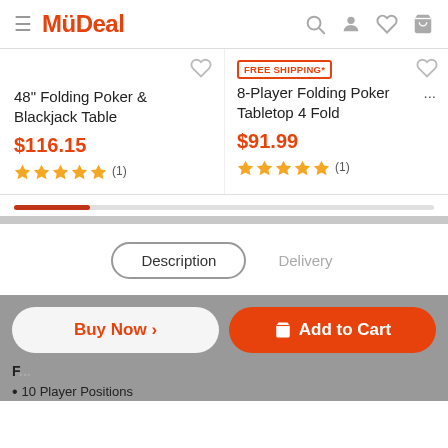MyDeal
48" Folding Poker & Blackjack Table — $116.15 — (1) review — 5 stars
FREE SHIPPING* — 8-Player Folding Poker Tabletop 4 Fold ... — $91.99 — (1) review — 5 stars
Description | Delivery
F... • 10 Player Positions
Buy Now › | Add to Cart